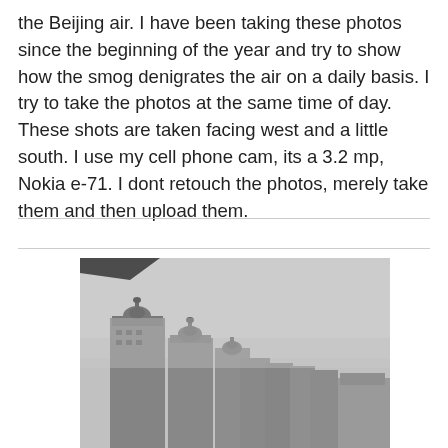the Beijing air. I have been taking these photos since the beginning of the year and try to show how the smog denigrates the air on a daily basis. I try to take the photos at the same time of day. These shots are taken facing west and a little south. I use my cell phone cam, its a 3.2 mp, Nokia e-71. I dont retouch the photos, merely take them and then upload them.
[Figure (photo): A smoggy Beijing skyline photo showing tall apartment/hotel buildings with domed rooftops in the foreground, with a thick grey haze obscuring the sky and background buildings. Photo taken from an elevated position facing west-southwest.]